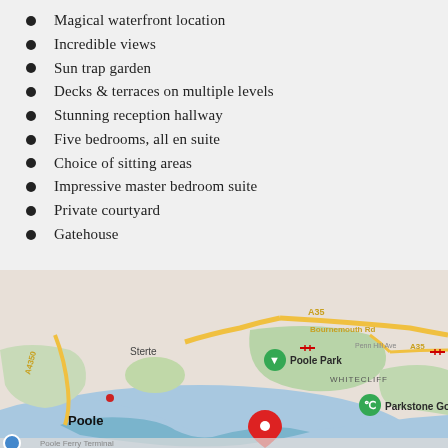Magical waterfront location
Incredible views
Sun trap garden
Decks & terraces on multiple levels
Stunning reception hallway
Five bedrooms, all en suite
Choice of sitting areas
Impressive master bedroom suite
Private courtyard
Gatehouse
[Figure (map): Google Maps view showing Poole area including Poole Park, Whitecliff, Parkstone Golf Club, Sterte, and roads A35 and A4350. A red location pin marks a property near Poole Harbour. Bournemouth Rd and Penn Hill Ave visible in top right.]